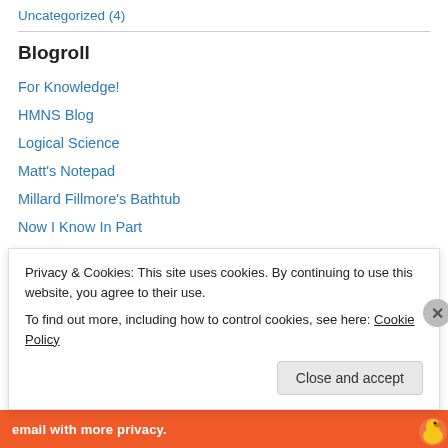Uncategorized (4)
Blogroll
For Knowledge!
HMNS Blog
Logical Science
Matt's Notepad
Millard Fillmore's Bathtub
Now I Know In Part
Playing Chess with Pigeons
Quintessence of Dust
Science and Religion
Privacy & Cookies: This site uses cookies. By continuing to use this website, you agree to their use. To find out more, including how to control cookies, see here: Cookie Policy
Close and accept
[Figure (infographic): Orange ad banner for email privacy product with duck logo]